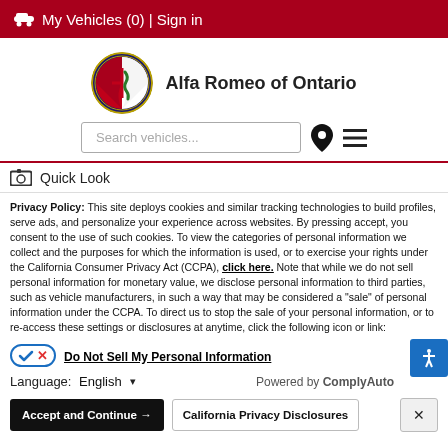🚗 My Vehicles (0) | Sign in
[Figure (logo): Alfa Romeo circular logo with red cross and green serpent on blue background]
Alfa Romeo of Ontario
Search vehicles...
Quick Look
Privacy Policy: This site deploys cookies and similar tracking technologies to build profiles, serve ads, and personalize your experience across websites. By pressing accept, you consent to the use of such cookies. To view the categories of personal information we collect and the purposes for which the information is used, or to exercise your rights under the California Consumer Privacy Act (CCPA), click here. Note that while we do not sell personal information for monetary value, we disclose personal information to third parties, such as vehicle manufacturers, in such a way that may be considered a "sale" of personal information under the CCPA. To direct us to stop the sale of your personal information, or to re-access these settings or disclosures at anytime, click the following icon or link:
Do Not Sell My Personal Information
Language: English  Powered by ComplyAuto
Accept and Continue →  California Privacy Disclosures  ×